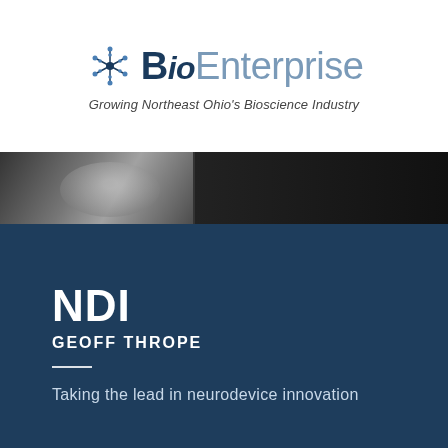[Figure (logo): BioEnterprise logo with snowflake/molecule icon on the left, 'Bio' in dark navy bold and 'Enterprise' in light blue-gray, with tagline 'Growing Northeast Ohio's Bioscience Industry' below in italic]
[Figure (photo): Black and white photo strip showing a close-up of a person's neck/chin area on the left half, and a dark/black background on the right half]
NDI
GEOFF THROPE
Taking the lead in neurodevice innovation